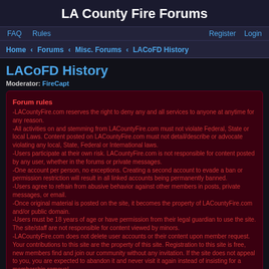LA County Fire Forums
FAQ  Rules  Register  Login
Home › Forums › Misc. Forums › LACoFD History
LACoFD History
Moderator: FireCapt
Forum rules
-LACountyFire.com reserves the right to deny any and all services to anyone at anytime for any reason.
-All activities on and stemming from LACountyFire.com must not violate Federal, State or local Laws. Content posted on LACountyFire.com must not detail/describe or advocate violating any local, State, Federal or International laws.
-Users participate at their own risk. LACountyFire.com is not responsible for content posted by any user, whether in the forums or private messages.
-One account per person, no exceptions. Creating a second account to evade a ban or permission restriction will result in all linked accounts being permanently banned.
-Users agree to refrain from abusive behavior against other members in posts, private messages, or email.
-Once original material is posted on the site, it becomes the property of LACountyFire.com and/or public domain.
-Users must be 18 years of age or have permission from their legal guardian to use the site. The site/staff are not responsible for content viewed by minors.
-LACountyFire.com does not delete user accounts or their content upon member request. Your contributions to this site are the property of this site. Registration to this site is free, new members find and join our community without any invitation. If the site does not appeal to you, you are expected to abandon it and never visit it again instead of insisting for a membership removal.